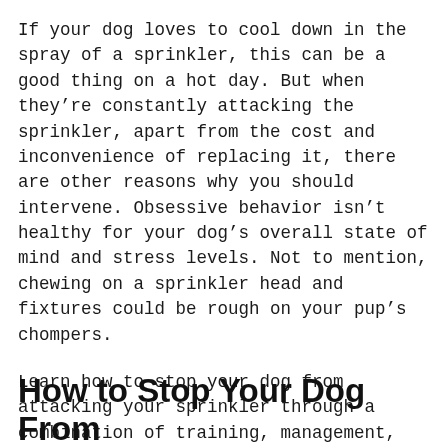If your dog loves to cool down in the spray of a sprinkler, this can be a good thing on a hot day. But when they're constantly attacking the sprinkler, apart from the cost and inconvenience of replacing it, there are other reasons why you should intervene. Obsessive behavior isn't healthy for your dog's overall state of mind and stress levels. Not to mention, chewing on a sprinkler head and fixtures could be rough on your pup's chompers.
Learn how to stop your dog from attacking your sprinkler through a combination of training, management, and enrichment.
How to Stop Your Dog From